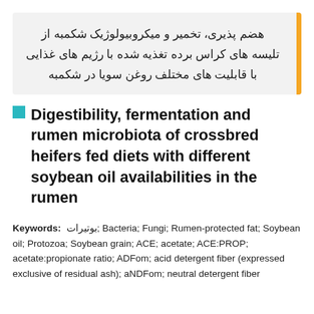هضم پذیری، تخمیر و میکروبیولوژیک شکمبه از تلیسه های کراس برده تغذیه شده با رژیم های غذایی با قابلیت های مختلف روغن سویا در شکمبه
Digestibility, fermentation and rumen microbiota of crossbred heifers fed diets with different soybean oil availabilities in the rumen
Keywords: بوتیرات; Bacteria; Fungi; Rumen-protected fat; Soybean oil; Protozoa; Soybean grain; ACE; acetate; ACE:PROP; acetate:propionate ratio; ADFom; acid detergent fiber (expressed exclusive of residual ash); aNDFom; neutral detergent fiber